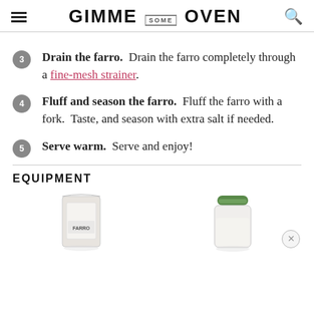GIMME SOME OVEN
Drain the farro. Drain the farro completely through a fine-mesh strainer.
Fluff and season the farro. Fluff the farro with a fork. Taste, and season with extra salt if needed.
Serve warm. Serve and enjoy!
EQUIPMENT
[Figure (photo): Two product images: a bag of farro and a glass jar with green lid, partially cropped at bottom of page.]